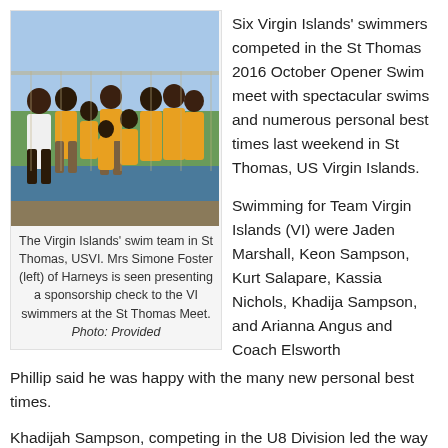[Figure (photo): Group photo of the Virgin Islands swim team in St Thomas, USVI, wearing yellow shirts, with a woman in white on the left presenting a sponsorship check.]
The Virgin Islands' swim team in St Thomas, USVI. Mrs Simone Foster (left) of Harneys is seen presenting a sponsorship check to the VI swimmers at the St Thomas Meet. Photo: Provided
Six Virgin Islands' swimmers competed in the St Thomas 2016 October Opener Swim meet with spectacular swims and numerous personal best times last weekend in St Thomas, US Virgin Islands.
Swimming for Team Virgin Islands (VI) were Jaden Marshall, Keon Sampson, Kurt Salapare, Kassia Nichols, Khadija Sampson, and Arianna Angus and Coach Elsworth Phillip said he was happy with the many new personal best times.
Khadijah Sampson, competing in the U8 Division led the way with first place finishes in the 25m Freestyle event (21.19), 25m